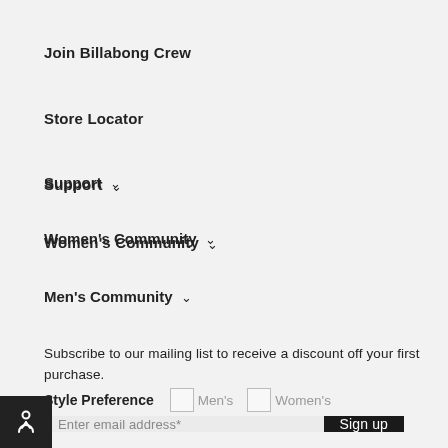Join Billabong Crew
Store Locator
Support ∨
Women's Community ∨
Men's Community ∨
Subscribe to our mailing list to receive a discount off your first purchase.
Style Preference  Men's  Women's
Enter email address*  Sign up